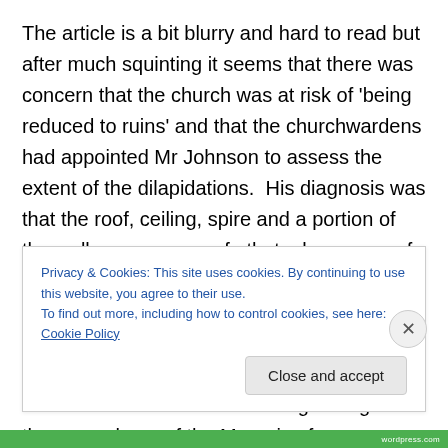The article is a bit blurry and hard to read but after much squinting it seems that there was concern that the church was at risk of 'being reduced to ruins' and that the churchwardens had appointed Mr Johnson to assess the extent of the dilapidations.  His diagnosis was that the roof, ceiling, spire and a portion of the walls were so unsafe that a large sum of money would be needed to keep up the building. The parishioners expressed their surprise at how bad the situation was. To illustrate just how bad things had got, it was revealed that rabbits had managed to get into the mausoleum of the Marquis of
Privacy & Cookies: This site uses cookies. By continuing to use this website, you agree to their use.
To find out more, including how to control cookies, see here: Cookie Policy
Close and accept